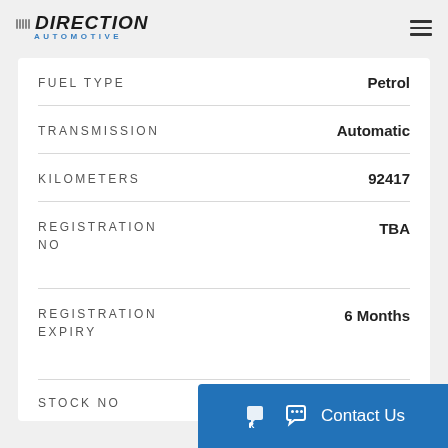DIRECTION AUTOMOTIVE
| Attribute | Value |
| --- | --- |
| FUEL TYPE | Petrol |
| TRANSMISSION | Automatic |
| KILOMETERS | 92417 |
| REGISTRATION NO | TBA |
| REGISTRATION EXPIRY | 6 Months |
| STOCK NO | 4028 |